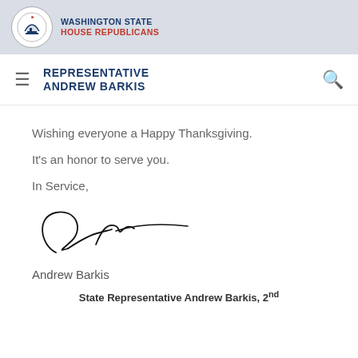WASHINGTON STATE HOUSE REPUBLICANS
REPRESENTATIVE ANDREW BARKIS
Wishing everyone a Happy Thanksgiving.
It’s an honor to serve you.
In Service,
[Figure (illustration): Handwritten signature of Andrew Barkis]
Andrew Barkis
State Representative Andrew Barkis, 2nd